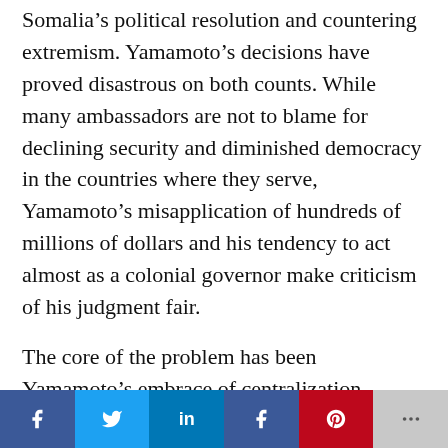Somalia's political resolution and countering extremism. Yamamoto's decisions have proved disastrous on both counts. While many ambassadors are not to blame for declining security and diminished democracy in the countries where they serve, Yamamoto's misapplication of hundreds of millions of dollars and his tendency to act almost as a colonial governor make criticism of his judgment fair.
The core of the problem has been Yamamoto's embrace of centralization. Whereas the constitutional basis of Somalia is now federalism, Yamamoto has worked to channel all resources through Mogadishu. In theory, resourcing President Mohamed Abdullahi
[Figure (other): Social media share bar with Facebook, Twitter, LinkedIn, Facebook, Pinterest, and More buttons]